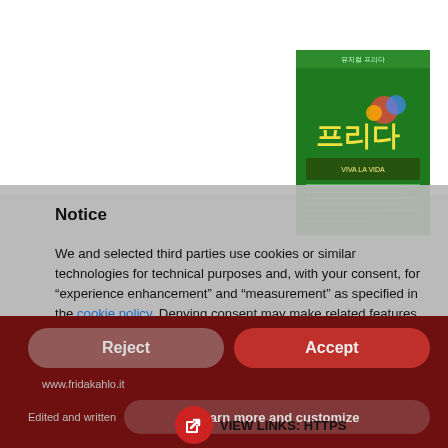[Figure (photo): Green Korean musical poster for 'Frida' with Korean text and colorful decorations on a dark green background]
Notice
We and selected third parties use cookies or similar technologies for technical purposes and, with your consent, for “experience enhancement” and “measurement” as specified in the cookie policy. Denying consent may make related features unavailable.
You can freely give, deny, or withdraw your consent at any time.
You can consent to the use of such technologies by using the “Accept” button. By closing this notice, you continue without accepting.
VIEW LINKS: HTTPS
www.fridakahlo.it
Edited and written
Reject
Accept
Learn more and customize